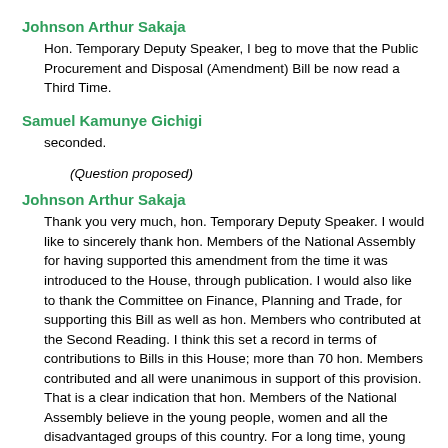Johnson Arthur Sakaja
Hon. Temporary Deputy Speaker, I beg to move that the Public Procurement and Disposal (Amendment) Bill be now read a Third Time.
Samuel Kamunye Gichigi
seconded.
(Question proposed)
Johnson Arthur Sakaja
Thank you very much, hon. Temporary Deputy Speaker. I would like to sincerely thank hon. Members of the National Assembly for having supported this amendment from the time it was introduced to the House, through publication. I would also like to thank the Committee on Finance, Planning and Trade, for supporting this Bill as well as hon. Members who contributed at the Second Reading. I think this set a record in terms of contributions to Bills in this House; more than 70 hon. Members contributed and all were unanimous in support of this provision. That is a clear indication that hon. Members of the National Assembly believe in the young people, women and all the disadvantaged groups of this country. For a long time, young